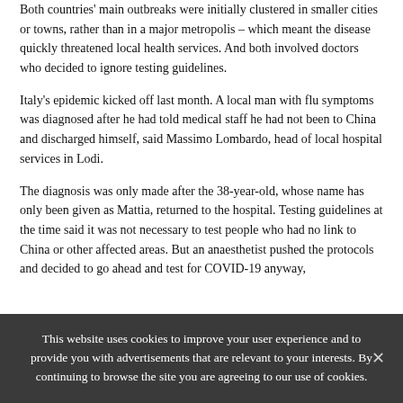Both countries' main outbreaks were initially clustered in smaller cities or towns, rather than in a major metropolis – which meant the disease quickly threatened local health services. And both involved doctors who decided to ignore testing guidelines.
Italy's epidemic kicked off last month. A local man with flu symptoms was diagnosed after he had told medical staff he had not been to China and discharged himself, said Massimo Lombardo, head of local hospital services in Lodi.
The diagnosis was only made after the 38-year-old, whose name has only been given as Mattia, returned to the hospital. Testing guidelines at the time said it was not necessary to test people who had no link to China or other affected areas. But an anaesthetist pushed the protocols and decided to go ahead and test for COVID-19 anyway,
This website uses cookies to improve your user experience and to provide you with advertisements that are relevant to your interests. By continuing to browse the site you are agreeing to our use of cookies.